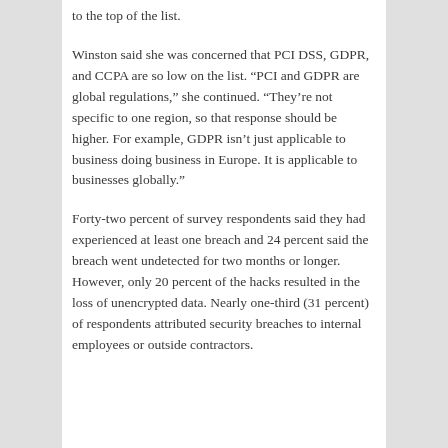to the top of the list.
Winston said she was concerned that PCI DSS, GDPR, and CCPA are so low on the list. “PCI and GDPR are global regulations,” she continued. “They’re not specific to one region, so that response should be higher. For example, GDPR isn’t just applicable to business doing business in Europe. It is applicable to businesses globally.”
Forty-two percent of survey respondents said they had experienced at least one breach and 24 percent said the breach went undetected for two months or longer. However, only 20 percent of the hacks resulted in the loss of unencrypted data. Nearly one-third (31 percent) of respondents attributed security breaches to internal employees or outside contractors.